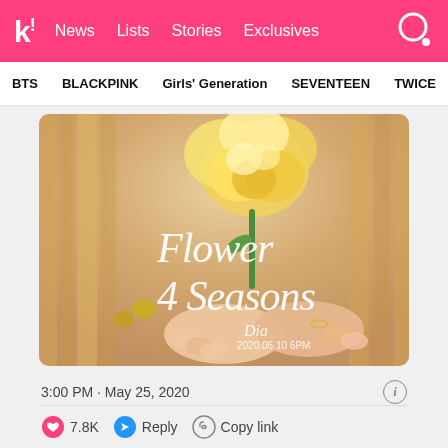k! News  Lists  Stories  Exclusives
BTS  BLACKPINK  Girls' Generation  SEVENTEEN  TWICE
[Figure (photo): Promotional image for 'Flower 4 Seasons' by Dia. Shows a person holding a yellow rose, with script text 'Flower 4 Seasons', 'Dia', and '2020.06.10 6PM' overlaid on a warm-toned background.]
3:00 PM · May 25, 2020
7.8K   Reply   Copy link